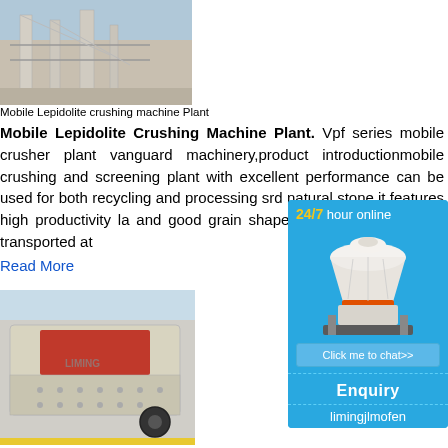[Figure (photo): Industrial crushing machinery/plant equipment, beige/gray colored with conveyor structures, outdoor factory setting]
Mobile Lepidolite crushing machine Plant
Mobile Lepidolite Crushing Machine Plant. Vpf series mobile crusher plant vanguard machinery,product introductionmobile crushing and screening plant with excellent performance can be used for both recycling and processing s rd natural stone.it features high productivity la and good grain shape. the mobile crushing e transported at
Read More
[Figure (photo): Industrial impact crusher machine, beige/cream colored with red interior visible, on factory floor with LIMING branding]
[Figure (infographic): Side panel advertisement: 24/7 hour online support with image of cone crusher machine, Click me to chat>> button, Enquiry section, limingjlmofen text, on blue background]